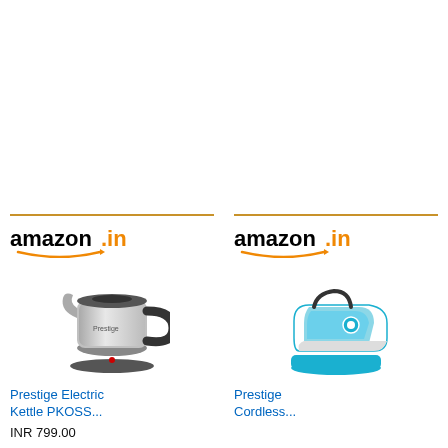[Figure (logo): Amazon.in logo for first product card (Prestige Electric Kettle)]
[Figure (photo): Product photo of Prestige Electric Kettle PKOSS (stainless steel electric kettle with black handle and base)]
Prestige Electric Kettle PKOSS...
INR 799.00
[Figure (logo): Amazon.in logo for second product card (Prestige Cordless)]
[Figure (photo): Product photo of Prestige Cordless steam iron (white and blue cordless steam iron on charging base)]
Prestige Cordless...